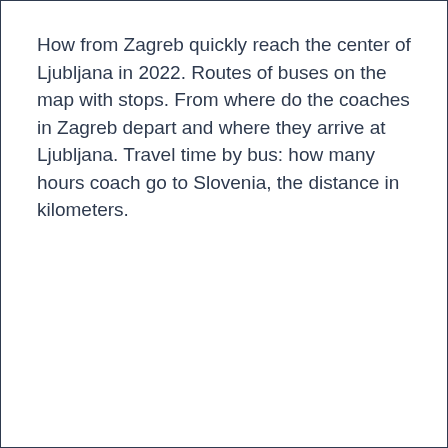How from Zagreb quickly reach the center of Ljubljana in 2022. Routes of buses on the map with stops. From where do the coaches in Zagreb depart and where they arrive at Ljubljana. Travel time by bus: how many hours coach go to Slovenia, the distance in kilometers.